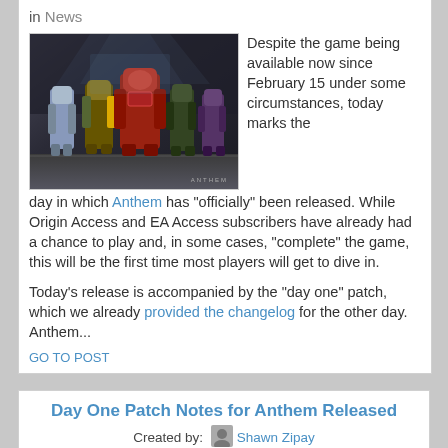in News
[Figure (photo): Screenshot from the game Anthem showing armored characters/mechs standing in a futuristic environment. The word ANTHEM appears in the lower right corner.]
Despite the game being available now since February 15 under some circumstances, today marks the day in which Anthem has "officially" been released. While Origin Access and EA Access subscribers have already had a chance to play and, in some cases, "complete" the game, this will be the first time most players will get to dive in.

Today's release is accompanied by the "day one" patch, which we already provided the changelog for the other day. Anthem...
GO TO POST
Day One Patch Notes for Anthem Released
Created by: Shawn Zipay